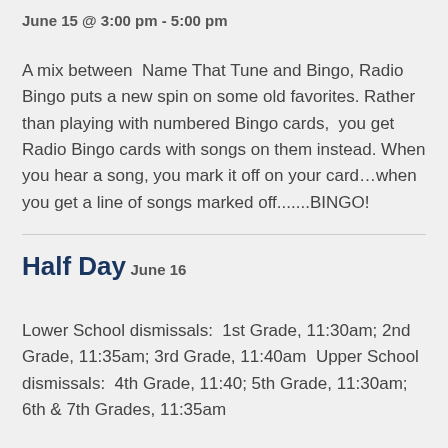June 15 @ 3:00 pm - 5:00 pm
A mix between  Name That Tune and Bingo, Radio Bingo puts a new spin on some old favorites. Rather than playing with numbered Bingo cards,  you get Radio Bingo cards with songs on them instead. When you hear a song, you mark it off on your card...when you get a line of songs marked off.......BINGO!
Half Day
June 16
Lower School dismissals:  1st Grade, 11:30am; 2nd Grade, 11:35am; 3rd Grade, 11:40am  Upper School dismissals:  4th Grade, 11:40; 5th Grade, 11:30am; 6th & 7th Grades, 11:35am